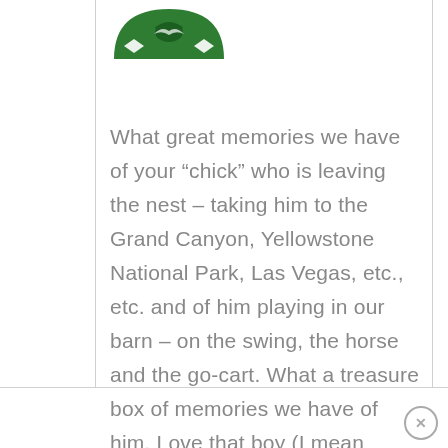[Figure (logo): Green logo with diamond/card suit shapes and a bird silhouette on an arch background]
What great memories we have of your “chick” who is leaving the nest – taking him to the Grand Canyon, Yellowstone National Park, Las Vegas, etc., etc. and of him playing in our barn – on the swing, the horse and the go-cart. What a treasure box of memories we have of him. Love that boy (I mean young man). Mom and Dad